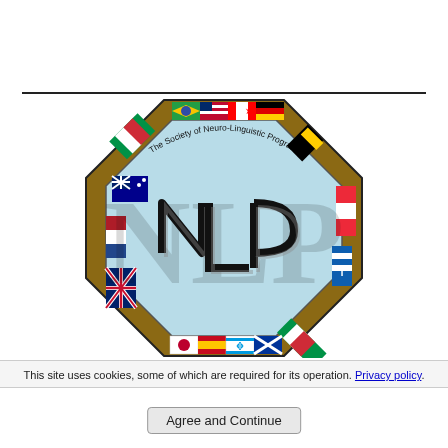[Figure (logo): The Society of Neuro-Linguistic Programming logo — an octagon bordered with international flags containing the stylized letters NLP in the center on a light blue background]
This site uses cookies, some of which are required for its operation. Privacy policy.
Agree and Continue